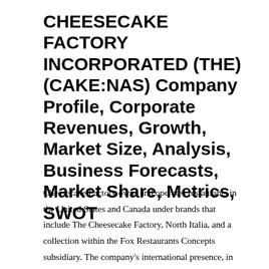CHEESECAKE FACTORY INCORPORATED (THE) (CAKE:NAS) Company Profile, Corporate Revenues, Growth, Market Size, Analysis, Business Forecasts, Market Share, Metrics, SWOT
Cheesecake Factory owns and operates restaurants in the United States and Canada under brands that include The Cheesecake Factory, North Italia, and a collection within the Fox Restaurants Concepts subsidiary. The company's international presence, in the Middle East